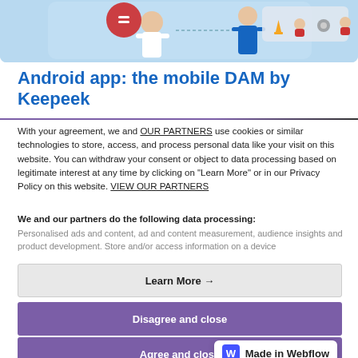[Figure (illustration): Top banner illustration showing cartoon characters and icons on a light blue background representing a mobile DAM app interface.]
Android app: the mobile DAM by Keepeek
With your agreement, we and OUR PARTNERS use cookies or similar technologies to store, access, and process personal data like your visit on this website. You can withdraw your consent or object to data processing based on legitimate interest at any time by clicking on "Learn More" or in our Privacy Policy on this website. VIEW OUR PARTNERS
We and our partners do the following data processing: Personalised ads and content, ad and content measurement, audience insights and product development. Store and/or access information on a device
Learn More →
Disagree and close
Agree and close